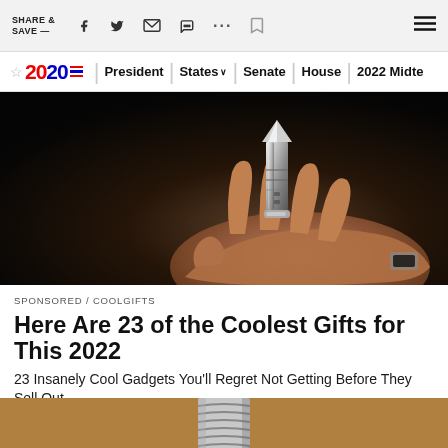SHARE & SAVE —
2020 | President | States | Senate | House | 2022 Midterms
[Figure (photo): A hand holding a metallic bullet-shaped gadget/pen tool against a dark background]
SPONSORED / COOLGIFTS
Here Are 23 of the Coolest Gifts for This 2022
23 Insanely Cool Gadgets You'll Regret Not Getting Before They Sell Out
[Figure (photo): Bottom portion of a light bulb base visible at the bottom of the page]